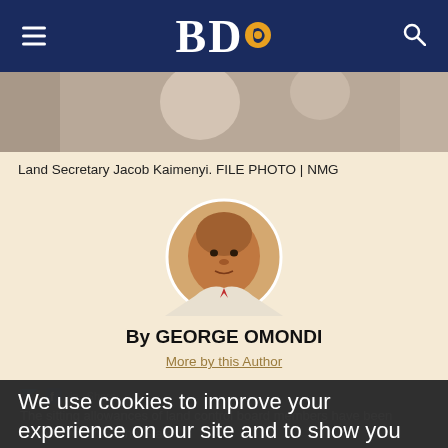BDO
[Figure (photo): Cropped header photo showing people, partially visible]
Land Secretary Jacob Kaimenyi. FILE PHOTO | NMG
[Figure (photo): Circular author headshot of George Omondi]
By GEORGE OMONDI
More by this Author
We use cookies to improve your experience on our site and to show you relevant advertising. To find out more, read our updated Privacy Policy
The sitting allowances of land control board members have been raised fivefold as the State